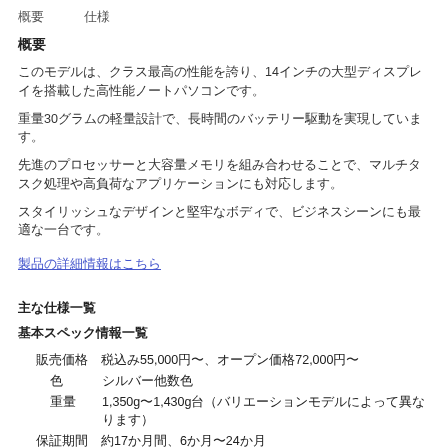概要　　　仕様
概要
このモデルは、クラス最高の性能を誇り、14インチの大型ディスプレイを搭載した高性能ノートパソコンです。
重量30グラムの軽量設計で、長時間のバッテリー駆動を実現しています。
先進のプロセッサーと大容量メモリを組み合わせることで、マルチタスク処理や高負荷なアプリケーションにも対応します。
スタイリッシュなデザインと堅牢なボディで、ビジネスシーンにも最適な一台です。
製品の詳細情報はこちら（リンク）
主な仕様一覧
基本スペック情報一覧
| 項目 | 内容 |
| --- | --- |
| 販売価格 | 税込み55,000円〜、オープン価格72,000円〜 |
| 色 | シルバー他数色 |
| 重量 | 1,350g〜1,430g台（バリエーションモデルによって異なります） |
| 保証期間 | 約17か月間、6か月〜24か月 |